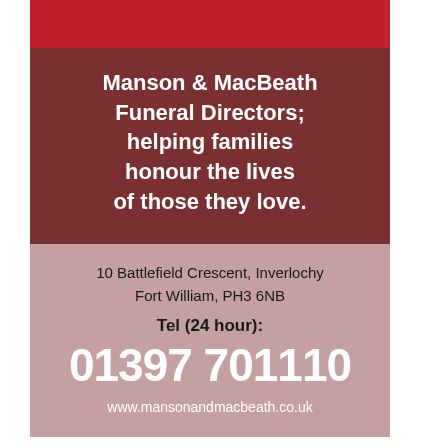[Figure (other): Red banner at top of advertisement]
Manson & MacBeath Funeral Directors; helping families honour the lives of those they love.
10 Battlefield Crescent, Inverlochy
Fort William, PH3 6NB
Tel (24 hour):
01397 701110
www.mansonandmacbeath.co.uk